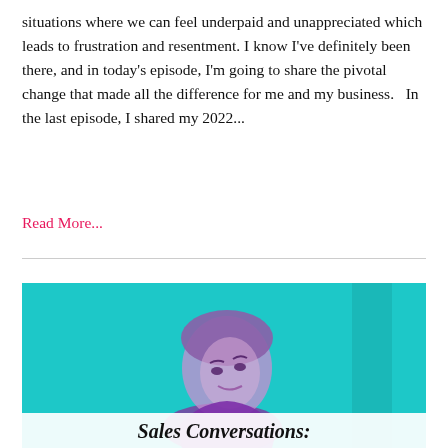situations where we can feel underpaid and unappreciated which leads to frustration and resentment. I know I've definitely been there, and in today's episode, I'm going to share the pivotal change that made all the difference for me and my business.   In the last episode, I shared my 2022...
Read More...
[Figure (illustration): Teal/cyan background illustration showing a person looking upward with purple tones, and text at the bottom reading 'Sales Conversations:' in a hand-lettered style on a white banner.]